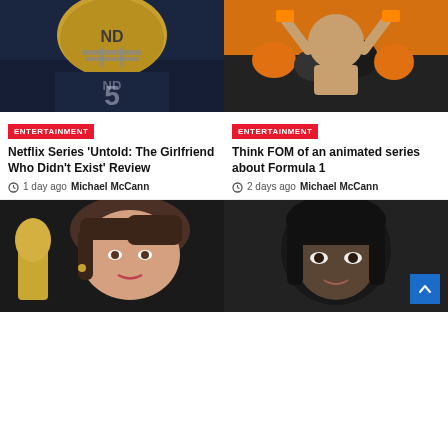[Figure (photo): Notre Dame football player wearing gold helmet and navy uniform with ND logo]
[Figure (photo): Shirtless fan cheering in crowd wearing orange at a sports event]
ENTERTAINMENT
Netflix Series ‘Untold: The Girlfriend Who Didn’t Exist’ Review
1 day ago  Michael McCann
ENTERTAINMENT
Think FOM of an animated series about Formula 1
2 days ago  Michael McCann
[Figure (photo): Woman with bangs and brown hair, appears to be Taylor Swift at an awards event]
[Figure (photo): Asian man with dark hair against dark background, with blue scroll-to-top button overlay]